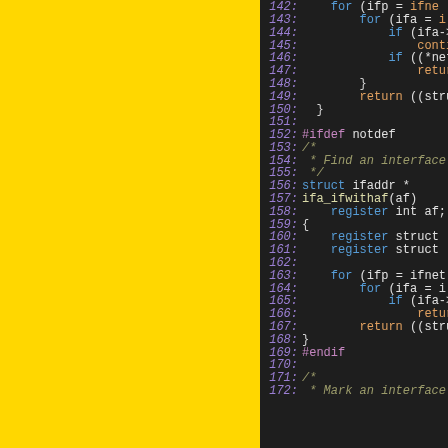[Figure (screenshot): Source code viewer showing C code lines 142-172 with syntax highlighting on a dark background. Left portion of the page is covered by a yellow panel (approximately 58% of width). Line numbers are shown in italic purple, keywords in blue, identifiers in orange/teal, comments in olive italic. Code includes nested for loops, struct ifaddr, register declarations, #ifdef notdef block, and #endif.]